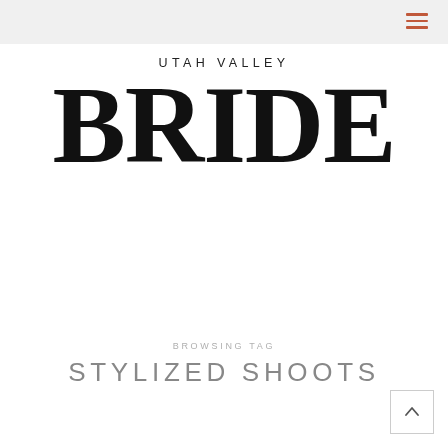Utah Valley Bride — navigation header with hamburger menu
[Figure (logo): Utah Valley Bride magazine logo. 'UTAH VALLEY' in small spaced caps above large bold serif 'BRIDE' lettering.]
BROWSING TAG
STYLIZED SHOOTS